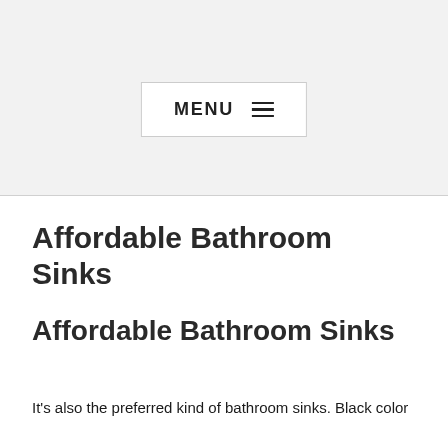MENU ☰
Affordable Bathroom Sinks
Affordable Bathroom Sinks
It's also the preferred kind of bathroom sinks. Black color A t h ... al th l k th t th d to d